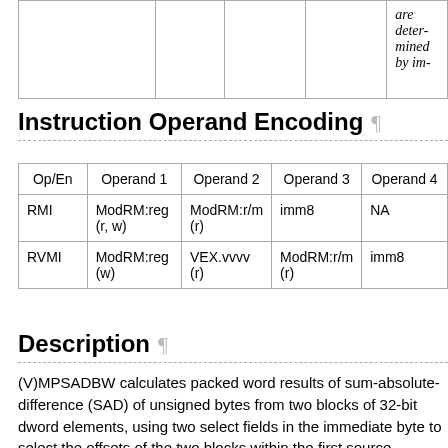|  |  |  |  | Operand 4 |
| --- | --- | --- | --- | --- |
|  |  |  |  | are deter- mined by im- |
Instruction Operand Encoding
| Op/En | Operand 1 | Operand 2 | Operand 3 | Operand 4 |
| --- | --- | --- | --- | --- |
| RMI | ModRM:reg (r, w) | ModRM:r/m (r) | imm8 | NA |
| RVMI | ModRM:reg (w) | VEX.vvvv (r) | ModRM:r/m (r) | imm8 |
Description
(V)MPSADBW calculates packed word results of sum-absolute-difference (SAD) of unsigned bytes from two blocks of 32-bit dword elements, using two select fields in the immediate byte to select the offsets of the two blocks within the first source operand and the second operand. Packed SAD word results are calculated within each 128-bit lane. Each SAD word result is calculated between a stationary block_2 (whose offset within the second source operand is selected by a two bit select control, multiplied by